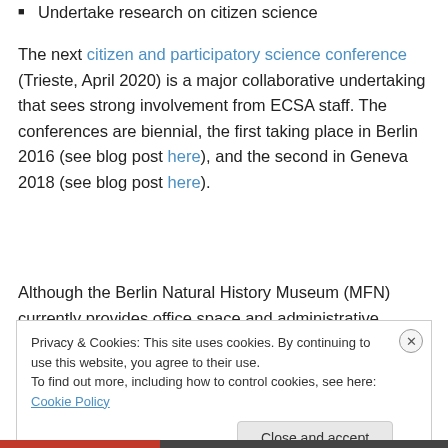Undertake research on citizen science
The next citizen and participatory science conference (Trieste, April 2020) is a major collaborative undertaking that sees strong involvement from ECSA staff. The conferences are biennial, the first taking place in Berlin 2016 (see blog post here), and the second in Geneva 2018 (see blog post here).
Although the Berlin Natural History Museum (MFN) currently provides office space and administrative support
Privacy & Cookies: This site uses cookies. By continuing to use this website, you agree to their use. To find out more, including how to control cookies, see here: Cookie Policy
Close and accept